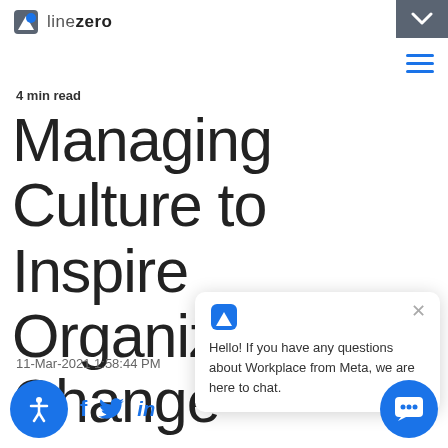linezero
4 min read
Managing Culture to Inspire Organizational Change
11-Mar-2021 1:58:44 PM
[Figure (other): Chat widget popup: logo icon, close button, text 'Hello! If you have any questions about Workplace from Meta, we are here to chat.']
[Figure (other): Social sharing icons row: accessibility icon circle, Facebook f, Twitter bird, LinkedIn in]